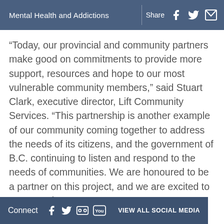Mental Health and Addictions
“Today, our provincial and community partners make good on commitments to provide more support, resources and hope to our most vulnerable community members,” said Stuart Clark, executive director, Lift Community Services. “This partnership is another example of our community coming together to address the needs of its citizens, and the government of B.C. continuing to listen and respond to the needs of communities. We are honoured to be a partner on this project, and we are excited to get to work.”
Connect  VIEW ALL SOCIAL MEDIA